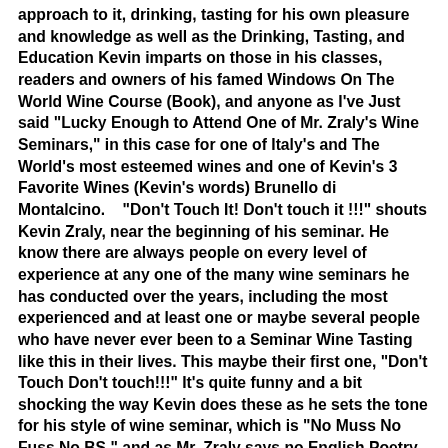approach to it, drinking, tasting for his own pleasure and knowledge as well as the Drinking, Tasting, and Education Kevin imparts on those in his classes, readers and owners of his famed Windows On The World Wine Course (Book), and anyone as I've Just said "Lucky Enough to Attend One of Mr. Zraly's Wine Seminars," in this case for one of Italy's and The World's most esteemed wines and one of Kevin's 3 Favorite Wines (Kevin's words) Brunello di Montalcino.    "Don't Touch It! Don't touch it !!!" shouts Kevin Zraly, near the beginning of his seminar. He know there are always people on every level of experience at any one of the many wine seminars he has conducted over the years, including the most experienced and at least one or maybe several people who have never ever been to a Seminar Wine Tasting like this in their lives. This maybe their first one, "Don't Touch Don't touch!!!" It's quite funny and a bit shocking the way Kevin does these as he sets the tone for his style of wine seminar, which is "No Muss No Fuss No BS," and as Mr. Zraly says no English Poetry, in an effort to say there will be none of that overdone pontification, just straight normal talk, and talk even a beginner could grasp about wine, and